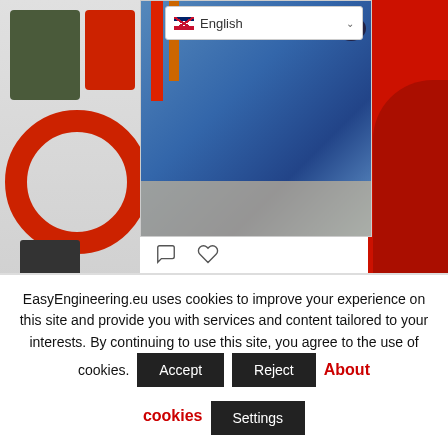[Figure (screenshot): Screenshot of EasyEngineering.eu website showing a social media feed with a tweet from Easy Engineering about #Ekomaziva, a Czech based distribution and manufacturing company. Background shows industrial machinery (blue motors/compressors with red and orange pipes). Left side shows colorful plastic containers and a red ring. Right side shows a red bin. A language selector showing 'English' is visible at top right.]
#Ekomaziva is a Czech based distribution and manufacturing
EasyEngineering.eu uses cookies to improve your experience on this site and provide you with services and content tailored to your interests. By continuing to use this site, you agree to the use of cookies.
Accept
Reject
About cookies
Settings